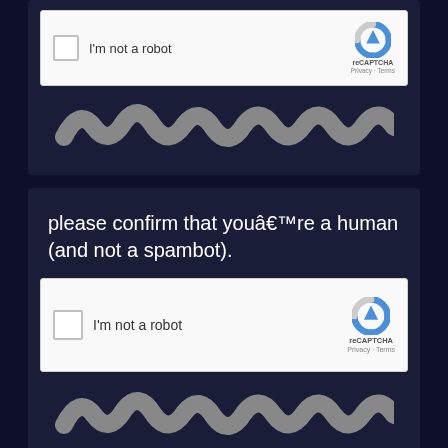[Figure (screenshot): Partial reCAPTCHA widget showing 'I'm not a robot' checkbox with reCAPTCHA logo, Privacy and Terms links, and wavy Google logo at bottom, on dark navy background]
please confirm that youâ€™re a human (and not a spambot).
[Figure (screenshot): Full reCAPTCHA widget showing 'I'm not a robot' checkbox with reCAPTCHA logo, Privacy and Terms links, on dark navy background]
please confirm that youâ€™re a